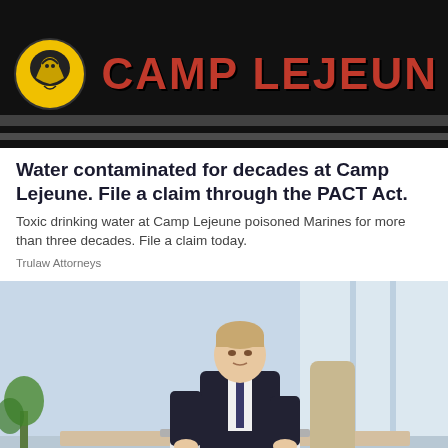[Figure (illustration): Camp Lejeune banner with yellow/black military logo on left and red bold text 'CAMP LEJEUN' on dark background]
Water contaminated for decades at Camp Lejeune. File a claim through the PACT Act.
Toxic drinking water at Camp Lejeune poisoned Marines for more than three decades. File a claim today.
Trulaw Attorneys
[Figure (photo): Professional man in dark suit and tie sitting at a desk working on a laptop in a bright office environment]